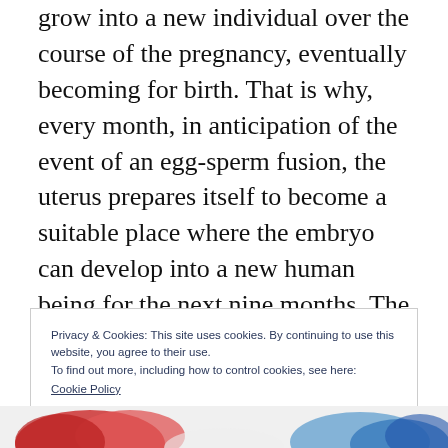grow into a new individual over the course of the pregnancy, eventually becoming for birth. That is why, every month, in anticipation of the event of an egg-sperm fusion, the uterus prepares itself to become a suitable place where the embryo can develop into a new human being for the next nine months. The wall of the uterus becomes thick and full of blood vessels for the embryo to bind to it and receive nourishment to survive and grow. When the egg- sperm fusion does not occur, the body
Privacy & Cookies: This site uses cookies. By continuing to use this website, you agree to their use.
To find out more, including how to control cookies, see here:
Cookie Policy
[Figure (photo): Bottom strip showing a partial anatomical or medical illustration in red and blue tones, partially visible at the bottom of the page.]